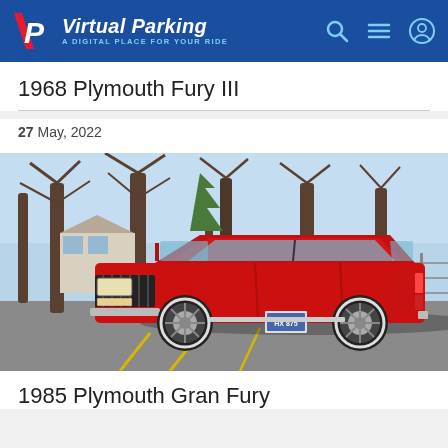Virtual Parking — A DIGITAL PLACE FOR YOUR RIDE
1968 Plymouth Fury III
27 May, 2022
[Figure (photo): Red 1985 Plymouth Gran Fury sedan parked in a lot with bare trees in the background, front 3/4 view]
1985 Plymouth Gran Fury